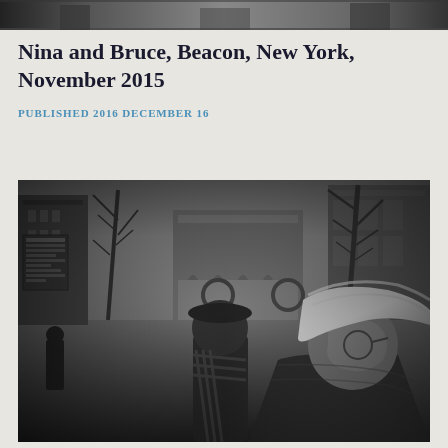[Figure (photo): Partial top strip of a black and white street photograph showing the upper portion of a scene]
Nina and Bruce, Beacon, New York, November 2015
PUBLISHED 2016 DECEMBER 16
[Figure (photo): Black and white street photograph of two people, a woman with light blonde hair and a man, walking in an urban setting with buildings and bare trees in the background. The image has a motion-blurred, layered quality suggesting a double exposure or intentional movement.]